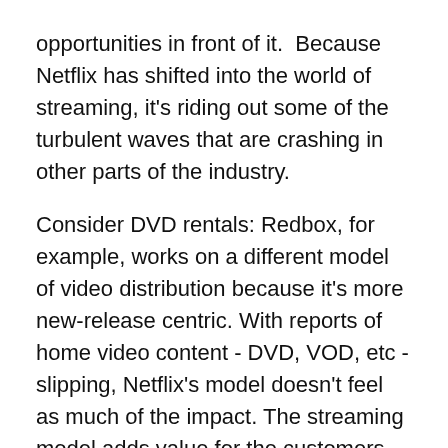opportunities in front of it.  Because Netflix has shifted into the world of streaming, it's riding out some of the turbulent waves that are crashing in other parts of the industry.
Consider DVD rentals: Redbox, for example, works on a different model of video distribution because it's more new-release centric. With reports of home video content - DVD, VOD, etc - slipping, Netflix's model doesn't feel as much of the impact. The streaming model adds value for the customers because they tend to consume more content. Because the plans are designed for all-you-can-eat consumption for a flat monthly rate, the company doesn't feel the pinch that comes a price-per-